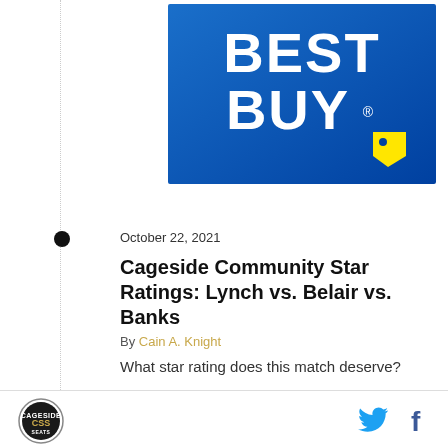[Figure (logo): Best Buy advertisement banner with blue gradient background and white BEST BUY text with yellow price tag logo]
October 22, 2021
Cageside Community Star Ratings: Lynch vs. Belair vs. Banks
By Cain A. Knight
What star rating does this match deserve?
[Figure (logo): Cageside Seats circular logo in footer]
[Figure (logo): Twitter and Facebook social media icons in footer]